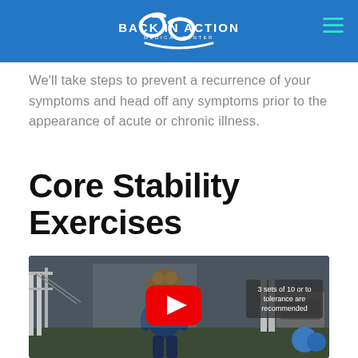Back in Action Medical Center
We'll take steps to prevent a recurrence of your symptoms and head off any symptoms prior to the appearance of acute or chronic illness.
Core Stability Exercises
[Figure (screenshot): YouTube video thumbnail showing a woman standing in a gym/physical therapy setting. A red YouTube play button is overlaid in the center. A semi-transparent overlay in the upper right reads '3 sets of 10 or to tolerance are recommended'.]